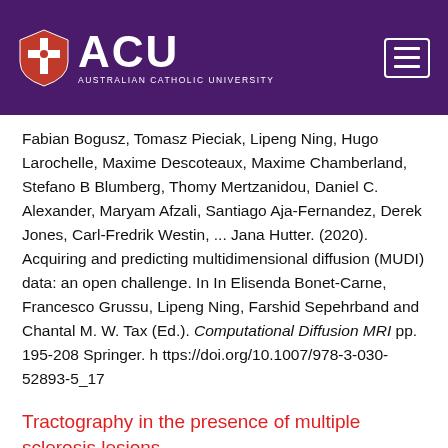[Figure (logo): Australian Catholic University (ACU) header bar with shield logo, ACU text, and hamburger menu icon on purple background]
Fabian Bogusz, Tomasz Pieciak, Lipeng Ning, Hugo Larochelle, Maxime Descoteaux, Maxime Chamberland, Stefano B Blumberg, Thomy Mertzanidou, Daniel C. Alexander, Maryam Afzali, Santiago Aja-Fernandez, Derek Jones, Carl-Fredrik Westin, ... Jana Hutter. (2020). Acquiring and predicting multidimensional diffusion (MUDI) data: an open challenge. In In Elisenda Bonet-Carne, Francesco Grussu, Lipeng Ning, Farshid Sepehrband and Chantal M. W. Tax (Ed.). Computational Diffusion MRI pp. 195-208 Springer. https://doi.org/10.1007/978-3-030-52893-5_17
Tractography in the presence of multiple sclerosis lesions